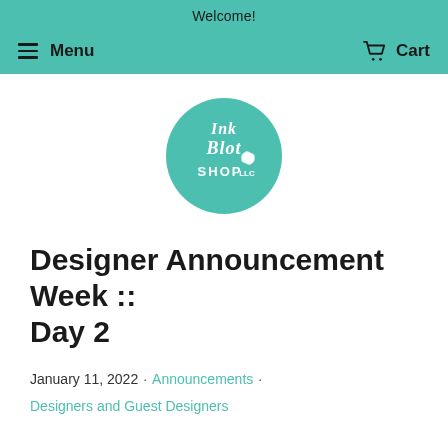Welcome!
Menu  Cart
[Figure (logo): Ink Blot Shop LLC circular logo in teal/mint color with handwritten text]
Designer Announcement Week :: Day 2
January 11, 2022 · Announcements · Designers and Guest Designers